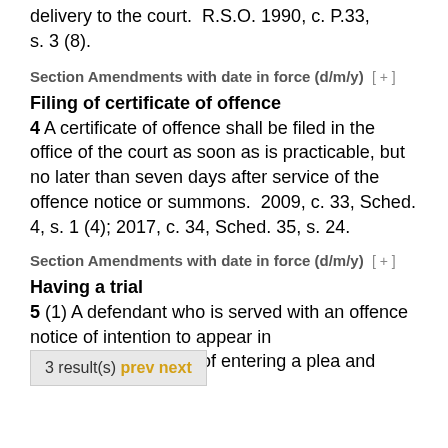delivery to the court.  R.S.O. 1990, c. P.33, s. 3 (8).
Section Amendments with date in force (d/m/y)  [ + ]
Filing of certificate of offence
4 A certificate of offence shall be filed in the office of the court as soon as is practicable, but no later than seven days after service of the offence notice or summons.  2009, c. 33, Sched. 4, s. 1 (4); 2017, c. 34, Sched. 35, s. 24.
Section Amendments with date in force (d/m/y)  [ + ]
Having a trial
5 (1) A defendant who is served with an offence notice of intention to appear in court for the purpose of entering a plea and
3 result(s) prev next